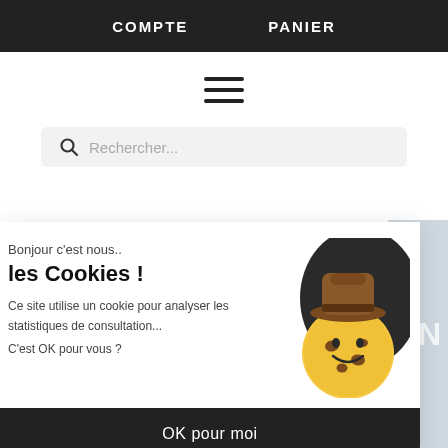COMPTE   PANIER
[Figure (illustration): Hamburger menu icon — three horizontal black lines]
Rechercher...
Bonjour c'est nous..
les Cookies !
Ce site utilise un cookie pour analyser les statistiques de consultation...
C'est OK pour vous ?
[Figure (illustration): Cartoon cookie character with a brown cowboy hat, yellow cookie face with chocolate chips and a smile, set against a dark background]
OK pour moi